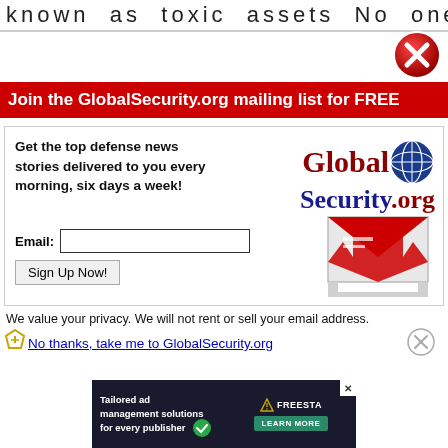known as toxic assets No one
Join the GlobalSecurity.org mailing list for FREE
Get the top defense news stories delivered to you every morning, six days a week!
[Figure (logo): GlobalSecurity.org logo with globe icon]
Email:
Sign Up Now!
[Figure (illustration): Email envelope icon with red arrow]
We value your privacy. We will not rent or sell your email address.
No thanks, take me to GlobalSecurity.org
[Figure (infographic): Advertisement banner: Tailored ad management solutions for every publisher - FREESTA LEARN MORE]